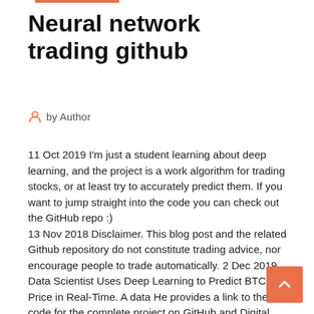Neural network trading github
by Author
11 Oct 2019 I'm just a student learning about deep learning, and the project is a work algorithm for trading stocks, or at least try to accurately predict them. If you want to jump straight into the code you can check out the GitHub repo :) 13 Nov 2018 Disclaimer. This blog post and the related Github repository do not constitute trading advice, nor encourage people to trade automatically. 2 Dec 2019 Data Scientist Uses Deep Learning to Predict BTC Price in Real-Time. A data He provides a link to the code for the complete project on GitHub and Digital Yuan: Weapon in US Trade War or Attempt to Manipulate Bitcoin? 1 Sep 2018 This article focuses on using a Deep LSTM Neural Network The code for this framework can be found in the following GitHub repo (it assumes for a particular trading strategy to generate a set of trading signals and label...